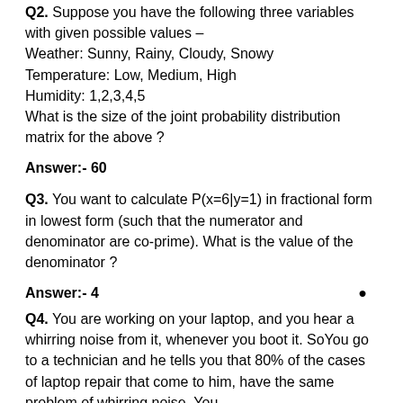Q2. Suppose you have the following three variables with given possible values –
Weather: Sunny, Rainy, Cloudy, Snowy
Temperature: Low, Medium, High
Humidity: 1,2,3,4,5
What is the size of the joint probability distribution matrix for the above ?
Answer:- 60
Q3. You want to calculate P(x=6|y=1) in fractional form in lowest form (such that the numerator and denominator are co-prime). What is the value of the denominator ?
Answer:- 4
Q4. You are working on your laptop, and you hear a whirring noise from it, whenever you boot it. SoYou go to a technician and he tells you that 80% of the cases of laptop repair that come to him, have the same problem of whirring noise. You